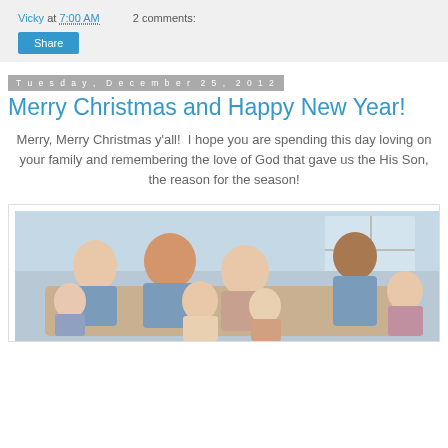Vicky at 7:00 AM   2 comments:
Share
Tuesday, December 25, 2012
Merry Christmas and Happy New Year!
Merry, Merry Christmas y'all!  I hope you are spending this day loving on your family and remembering the love of God that gave us the His Son, the reason for the season!
[Figure (photo): Family portrait photo showing a group of adults and children posed together indoors]